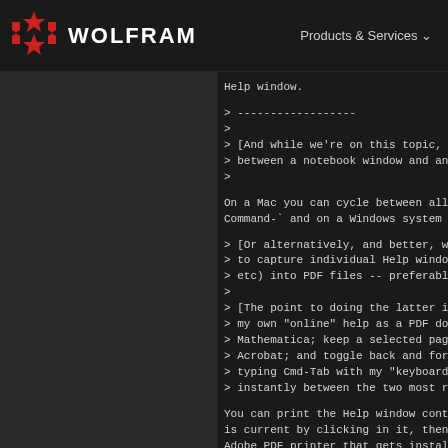WOLFRAM | Products & Services
Help window.

> ------------------
>
> [And while we're on this topic,
> between a notebook window and an
>

On a Mac you can cycle between all
Command-` and on a Windows system

> [Or alternatively, and better, w
> to capture individual Help windo
> etc) into PDF files -- preferabl
>
> [The point to doing the latter i
> my own "online" help as a PDF do
> Mathematica; keep a selected pag
> Acrobat; and toggle back and for
> typing Cmd-Tab with my "keyboard
> instantly between the two most r

You can print the Help window cont
is current by clicking in it, then
Adobe PDF printer that gets instal